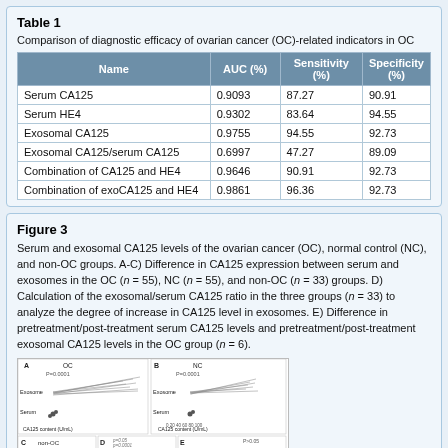Table 1
Comparison of diagnostic efficacy of ovarian cancer (OC)-related indicators in OC
| Name | AUC (%) | Sensitivity (%) | Specificity (%) |
| --- | --- | --- | --- |
| Serum CA125 | 0.9093 | 87.27 | 90.91 |
| Serum HE4 | 0.9302 | 83.64 | 94.55 |
| Exosomal CA125 | 0.9755 | 94.55 | 92.73 |
| Exosomal CA125/serum CA125 | 0.6997 | 47.27 | 89.09 |
| Combination of CA125 and HE4 | 0.9646 | 90.91 | 92.73 |
| Combination of exoCA125 and HE4 | 0.9861 | 96.36 | 92.73 |
Figure 3
Serum and exosomal CA125 levels of the ovarian cancer (OC), normal control (NC), and non-OC groups. A-C) Difference in CA125 expression between serum and exosomes in the OC (n = 55), NC (n = 55), and non-OC (n = 33) groups. D) Calculation of the exosomal/serum CA125 ratio in the three groups (n = 33) to analyze the degree of increase in CA125 level in exosomes. E) Difference in pretreatment/post-treatment serum CA125 levels and pretreatment/post-treatment exosomal CA125 levels in the OC group (n = 6).
[Figure (other): Multi-panel scientific figure showing CA125 content measurements in OC, NC, and non-OC groups with panels A, B, C (line plots), D (box plots), and E (bar/box plots).]